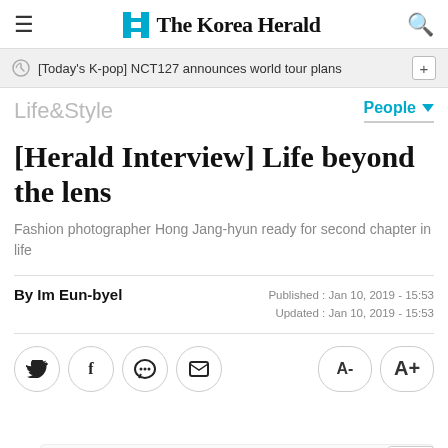The Korea Herald
[Today's K-pop] NCT127 announces world tour plans
Life&Style   People
[Herald Interview] Life beyond the lens
Fashion photographer Hong Jang-hyun ready for second chapter in life
By Im Eun-byel
Published: Jan 10, 2019 - 15:53
Updated: Jan 10, 2019 - 15:53
[Figure (screenshot): Social share buttons (Twitter, Facebook, KakaoTalk, Email) and font size buttons (A- A+)]
[Figure (screenshot): Advertisement banner for Hair Cuttery - Walk-Ins Available]